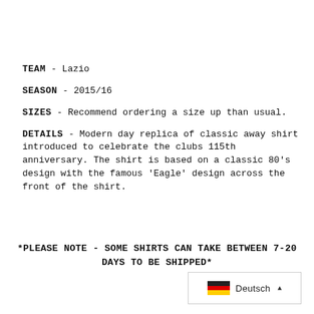TEAM - Lazio
SEASON - 2015/16
SIZES - Recommend ordering a size up than usual.
DETAILS - Modern day replica of classic away shirt introduced to celebrate the clubs 115th anniversary. The shirt is based on a classic 80's design with the famous 'Eagle' design across the front of the shirt.
*PLEASE NOTE - SOME SHIRTS CAN TAKE BETWEEN 7-20 DAYS TO BE SHIPPED*
[Figure (other): German flag icon with language selector showing 'Deutsch' and an up arrow]